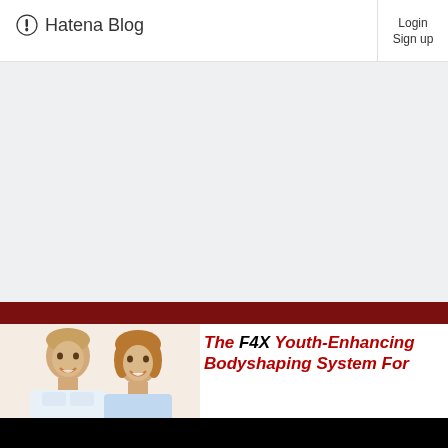Hatena Blog  Login  Sign up
[Figure (photo): Large gray empty content area, placeholder for blog content]
[Figure (photo): Banner image with dark red stripe, two smiling adults (man and woman), and text: The F4X Youth-Enhancing Bodyshaping System For]
The F4X Youth-Enhancing Bodyshaping System For